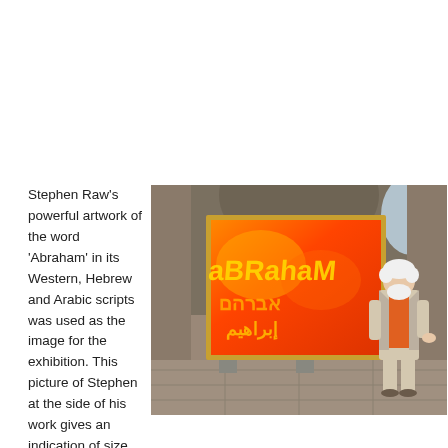Stephen Raw's powerful artwork of the word 'Abraham' in its Western, Hebrew and Arabic scripts was used as the image for the exhibition. This picture of Stephen at the side of his work gives an indication of size.
[Figure (photo): A man with white hair and beard stands beside a large framed painting displayed on a stand inside what appears to a cathedral or church. The painting shows the word 'Abraham' rendered in Western, Hebrew, and Arabic scripts in yellow and orange colors on a vibrant orange-red background.]